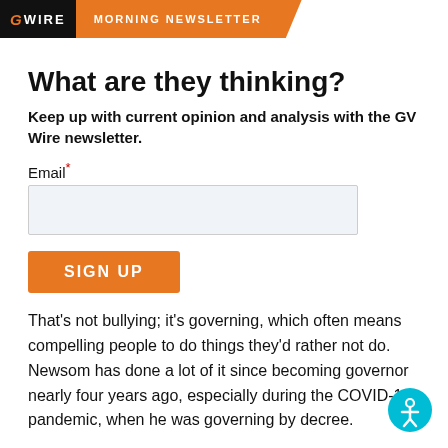GV WIRE MORNING NEWSLETTER
What are they thinking?
Keep up with current opinion and analysis with the GV Wire newsletter.
Email*
SIGN UP
That's not bullying; it's governing, which often means compelling people to do things they'd rather not do. Newsom has done a lot of it since becoming governor nearly four years ago, especially during the COVID-19 pandemic, when he was governing by decree.